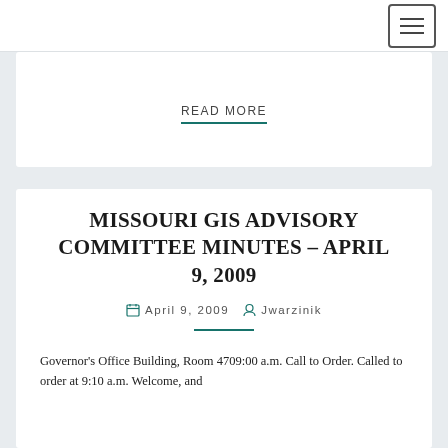READ MORE
MISSOURI GIS ADVISORY COMMITTEE MINUTES – APRIL 9, 2009
April 9, 2009   Jwarzinik
Governor's Office Building, Room 4709:00 a.m. Call to Order. Called to order at 9:10 a.m. Welcome, and